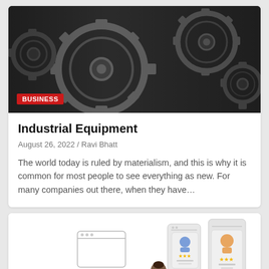[Figure (photo): Black and white close-up photo of industrial gears/cogs with a red BUSINESS badge overlay]
Industrial Equipment
August 26, 2022 / Ravi Bhatt
The world today is ruled by materialism, and this is why it is common for most people to see everything as new. For many companies out there, when they have...
[Figure (illustration): Flat style illustration of people in a team review or recruitment scene, with mobile screens showing user profiles with star ratings]